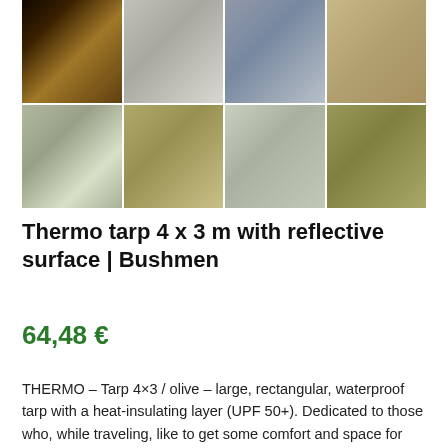[Figure (photo): Grid of 8 outdoor/camping photos showing tarp setups in forest and nature settings — top row: campfire shelter at night, grey tarp interior, blue patterned fabric, person with food outdoors; bottom row: teepee-style tarp in snowy forest, forest path, tarp shelter exterior, olive-colored tarp in forest]
Thermo tarp 4 x 3 m with reflective surface | Bushmen
64,48 €
THERMO – Tarp 4×3 / olive – large, rectangular, waterproof tarp with a heat-insulating layer (UPF 50+). Dedicated to those who, while traveling, like to get some comfort and space for themselves at the end of the day.